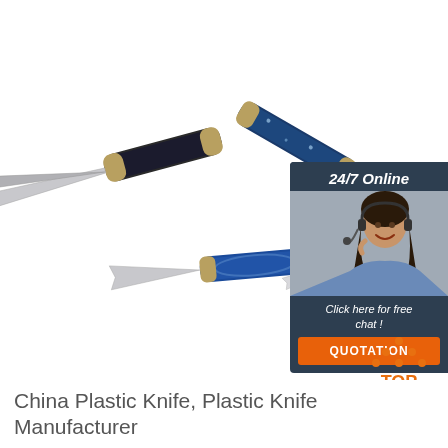[Figure (photo): Four decorative pocket knives with colorful handles (dark blue/black with sparkling pattern, blue swirl, orange, and white) arranged on a white background with blades open]
[Figure (infographic): Chat widget banner: dark teal background with '24/7 Online' header, photo of smiling woman with headset, 'Click here for free chat!' text, and orange 'QUOTATION' button]
[Figure (logo): Orange dotted triangle 'TOP' button logo]
China Plastic Knife, Plastic Knife Manufacturer